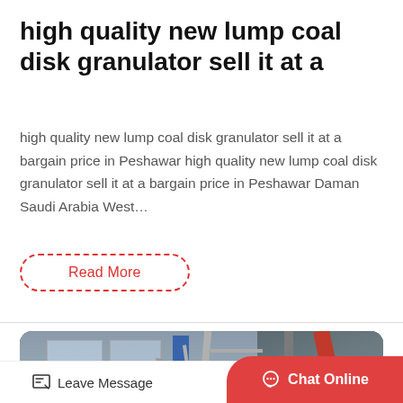high quality new lump coal disk granulator sell it at a
high quality new lump coal disk granulator sell it at a bargain price in Peshawar high quality new lump coal disk granulator sell it at a bargain price in Peshawar Daman Saudi Arabia West…
Read More
[Figure (photo): Industrial factory interior showing heavy machinery (likely a vibrating screen or granulator) in beige/cream color, with dark equipment to the right, steel scaffolding, a red overhead crane beam, and skylights in the ceiling.]
Leave Message
Chat Online